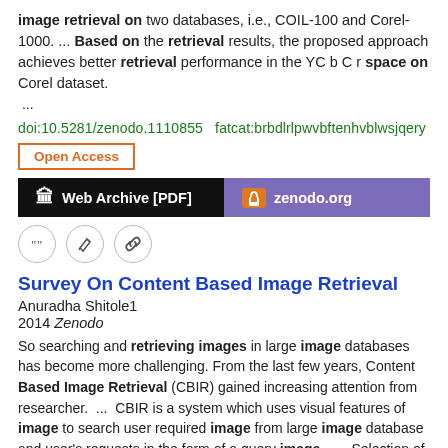image retrieval on two databases, i.e., COIL-100 and Corel-1000. ... Based on the retrieval results, the proposed approach achieves better retrieval performance in the YC b C r space on Corel dataset. ...
doi:10.5281/zenodo.1110855  fatcat:brbdlrlpwvbftenhvblwsjqery
[Figure (other): Open Access button with orange border, Web Archive [PDF] black button, zenodo.org purple button, and three icon circles (quote, edit, link)]
Survey On Content Based Image Retrieval
Anuradha Shitole1
2014 Zenodo
So searching and retrieving images in large image databases has become more challenging. From the last few years, Content Based Image Retrieval (CBIR) gained increasing attention from researcher. ... CBIR is a system which uses visual features of image to search user required image from large image database and user's requests in the form of a query image. ... Selection of similarity metrics has a direct impact on the performance of content-based image retrieval.